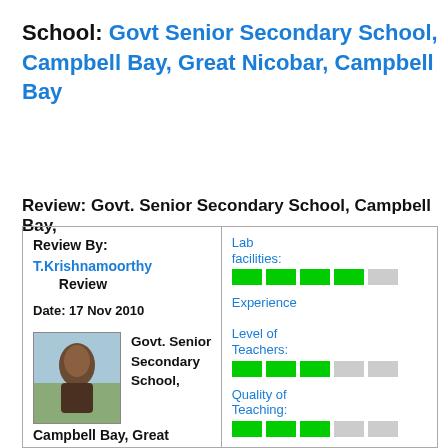School: Govt Senior Secondary School, Campbell Bay, Great Nicobar, Campbell Bay
Review: Govt. Senior Secondary School, Campbell Bay,
| Review By: | Lab facilities: |
| T.Krishnamoorthy   Review | ★★★★☆ |
| Date: 17 Nov 2010 | Experience Level of Teachers: |
| [photo] Govt. Senior Secondary School, | ★★★☆☆ |
| Campbell Bay, Great | Quality of Teaching: |
|  | ★★★☆☆ |
|  | Discipline: |